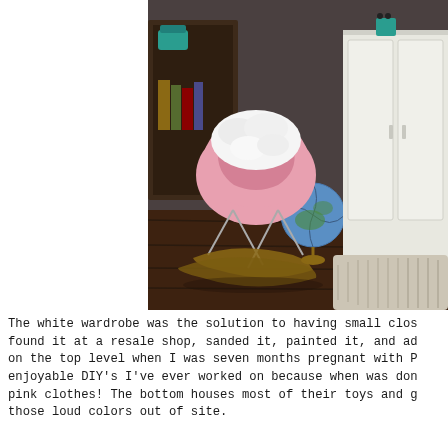[Figure (photo): A pink Eames-style rocking chair with a white fluffy cushion/sheepskin on it, positioned on dark hardwood floors. In the background is a white wardrobe/armoire, a globe, a bookshelf with items, and a beige shag rug. The room appears to be a child's bedroom.]
The white wardrobe was the solution to having small clos found it at a resale shop, sanded it, painted it, and ad on the top level when I was seven months pregnant with P enjoyable DIY's I've ever worked on because when was don pink clothes! The bottom houses most of their toys and g those loud colors out of site.